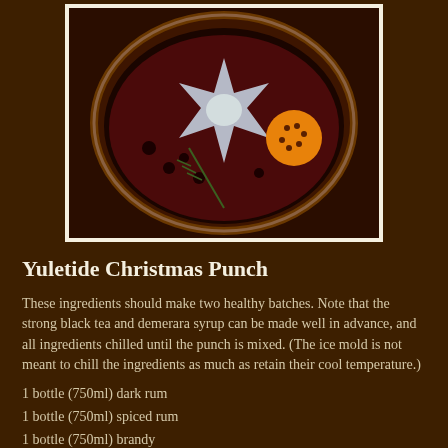[Figure (photo): Overhead view of a dark punch bowl with ice mold in a star shape, garnished with a studded orange and dark berries/fruit]
Yuletide Christmas Punch
These ingredients should make two healthy batches. Note that the strong black tea and demerara syrup can be made well in advance, and all ingredients chilled until the punch is mixed. (The ice mold is not meant to chill the ingredients as much as retain their cool temperature.)
1 bottle (750ml) dark rum
1 bottle (750ml) spiced rum
1 bottle (750ml) brandy
1 bottle (750ml) dry Lambrusco
2 liters club soda
1 quart strong black tea
1 cup fresh orange juice